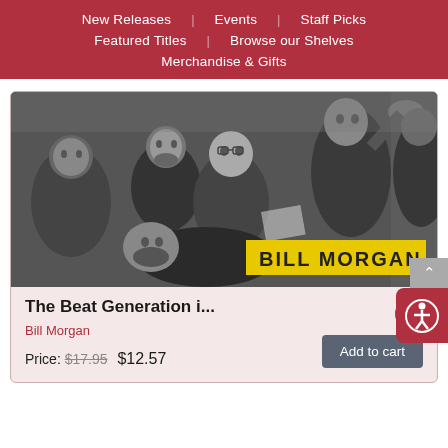New Releases | Events | Staff Picks | Featured Titles | Browse our Shelves | Merchandise & Gifts
[Figure (photo): Black and white photograph of a group of men, appears to be Beat Generation related. Yellow banner text reads 'BILL MORGAN' overlaid on the image.]
The Beat Generation i...
Bill Morgan
Price: $17.95 $12.57
Add to cart